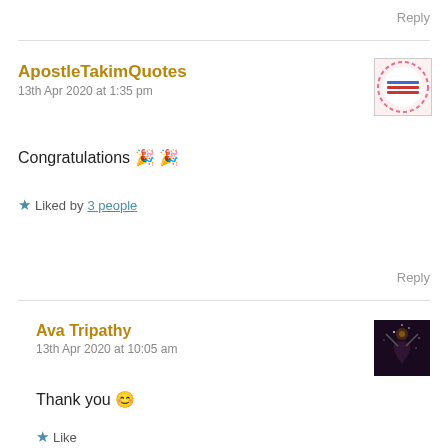Reply
ApostleTakimQuotes
13th Apr 2020 at 1:35 pm
Congratulations 🎉 🎉
★ Liked by 3 people
[Figure (photo): Avatar image for ApostleTakimQuotes — circular logo with text on white background with pink dashed border]
Reply
Ava Tripathy
13th Apr 2020 at 10:05 am
Thank you 😊
[Figure (photo): Avatar image for Ava Tripathy — dark background with silhouette figure]
★ Like